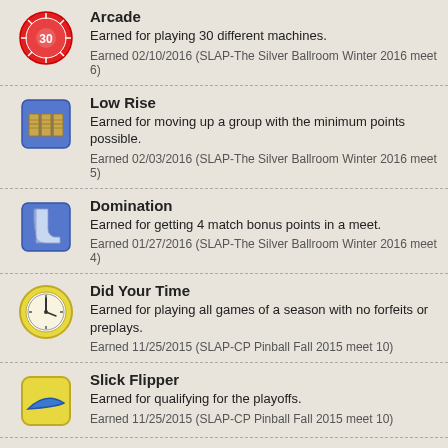Arcade
Earned for playing 30 different machines.
Earned 02/10/2016 (SLAP-The Silver Ballroom Winter 2016 meet 6)
Low Rise
Earned for moving up a group with the minimum points possible.
Earned 02/03/2016 (SLAP-The Silver Ballroom Winter 2016 meet 5)
Domination
Earned for getting 4 match bonus points in a meet.
Earned 01/27/2016 (SLAP-The Silver Ballroom Winter 2016 meet 4)
Did Your Time
Earned for playing all games of a season with no forfeits or preplays.
Earned 11/25/2015 (SLAP-CP Pinball Fall 2015 meet 10)
Slick Flipper
Earned for qualifying for the playoffs.
Earned 11/25/2015 (SLAP-CP Pinball Fall 2015 meet 10)
Missed a Spot
Earned for finishing a season without playing all machines.
Earned 11/25/2015 (SLAP-CP Pinball Fall 2015 meet 10)